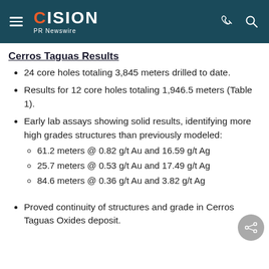CISION PR Newswire
Cerros Taguas Results
24 core holes totaling 3,845 meters drilled to date.
Results for 12 core holes totaling 1,946.5 meters (Table 1).
Early lab assays showing solid results, identifying more high grades structures than previously modeled:
61.2 meters @ 0.82 g/t Au and 16.59 g/t Ag
25.7 meters @ 0.53 g/t Au and 17.49 g/t Ag
84.6 meters @ 0.36 g/t Au and 3.82 g/t Ag
Proved continuity of structures and grade in Cerros Taguas Oxides deposit.